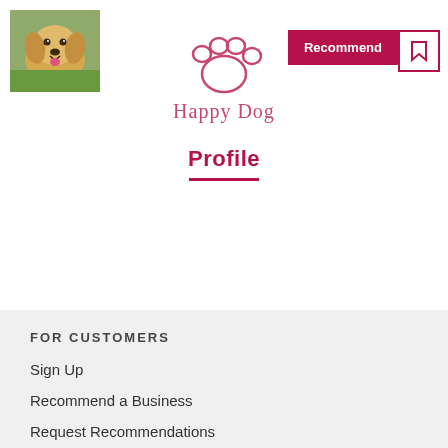[Figure (photo): Golden retriever dog photo thumbnail in top left corner]
[Figure (logo): Happy Dog logo with paw print icon and text 'Happy Dog' in pink/rose color]
Profile
FOR CUSTOMERS
Sign Up
Recommend a Business
Request Recommendations
Earn Credits